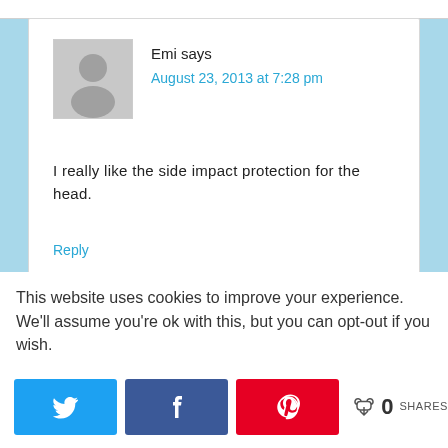Emi says
August 23, 2013 at 7:28 pm
I really like the side impact protection for the head.
Reply
This website uses cookies to improve your experience. We'll assume you're ok with this, but you can opt-out if you wish.
0 SHARES